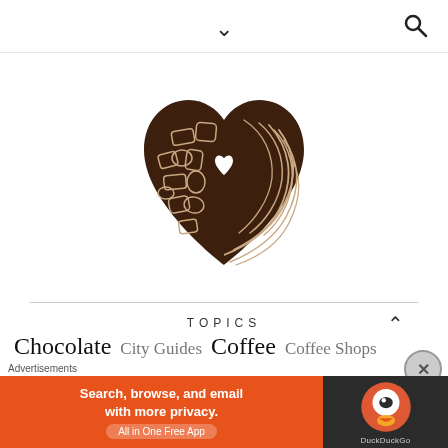chevron-down / search icon navigation bar
[Figure (logo): Heart-shaped logo split in two halves: left half filled dark brown with chocolate pieces/candies outlined in white; right half dark brown with white swirl pattern on right side, small white heart cutout in center.]
TOPICS
Chocolate  City Guides  Coffee  Coffee Shops
[Figure (screenshot): DuckDuckGo advertisement banner: orange background with text 'Search, browse, and email with more privacy. All in One Free App' and DuckDuckGo duck logo on dark background.]
Advertisements